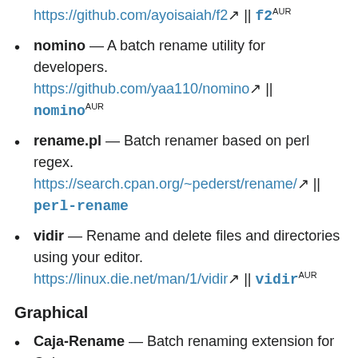https://github.com/ayoisaiah/f2 || f2 AUR
nomino — A batch rename utility for developers. https://github.com/yaa110/nomino || nomino AUR
rename.pl — Batch renamer based on perl regex. https://search.cpan.org/~pederst/rename/ || perl-rename
vidir — Rename and delete files and directories using your editor. https://linux.die.net/man/1/vidir || vidir AUR
Graphical
Caja-Rename — Batch renaming extension for Caja. https://tari.in/www/software/caja-rename || caja-rename AUR
CoreRenamer — Simple lightweight batch file renamer application. Part of C-Suite. https://cubocore.org/ || corerenamer AUR
GPRename — GTK batch renamer for files and